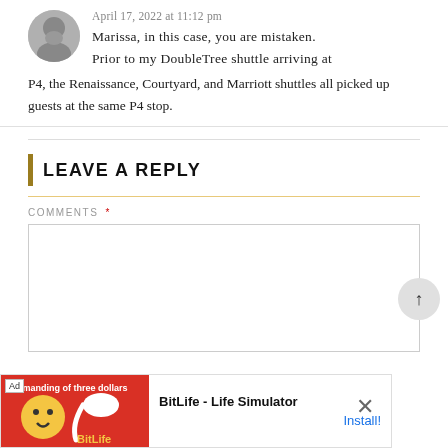April 17, 2022 at 11:12 pm
Marissa, in this case, you are mistaken. Prior to my DoubleTree shuttle arriving at P4, the Renaissance, Courtyard, and Marriott shuttles all picked up guests at the same P4 stop.
LEAVE A REPLY
COMMENTS *
[Figure (screenshot): Comment text input textarea box, empty]
[Figure (screenshot): Advertisement banner for BitLife - Life Simulator app with Install button]